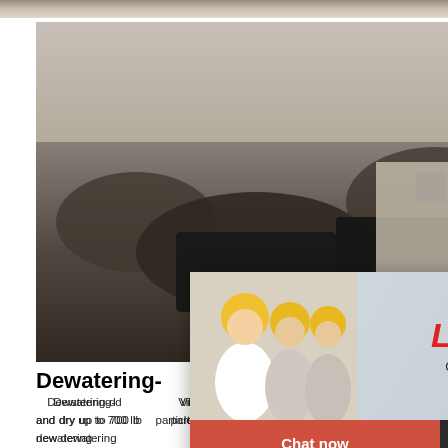[Figure (photo): Partial top strip of mining/quarry machinery photo, cropped at top]
[Figure (photo): Large mining site photo showing heavy crushing machinery and rock/gravel quarry]
Dewatering-
Dewatering-d... Vibroscreen mo... Kason model K... liters) of water per minute and dry up to 700 lb... particles per hour. NEWS RELEASES Dewat... MILLBURN, NJ — A new dewatering
[Figure (photo): Industrial machinery photo showing yellow/orange crushing or screening equipment in a warehouse]
[Figure (screenshot): Live Chat popup overlay with workers in hard hats, LIVE CHAT heading in red, Click for a Free Consultation subtitle, Chat now and Chat later buttons]
[Figure (infographic): Right sidebar orange panel with mining machine thumbnails, Enjoy 3% discount bar, Click to Chat bar, and Enquiry label]